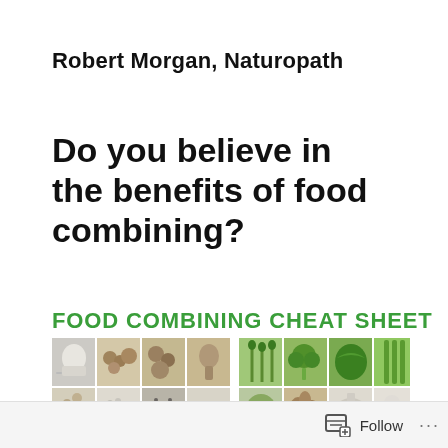Robert Morgan, Naturopath
Do you believe in the benefits of food combining?
FOOD COMBINING CHEAT SHEET
[Figure (photo): A grid of food photos showing various nuts, grains, seeds, dairy, and green vegetables arranged in two rows of eight cells each, with a plus sign in one cell, representing a food combining cheat sheet.]
Follow ...